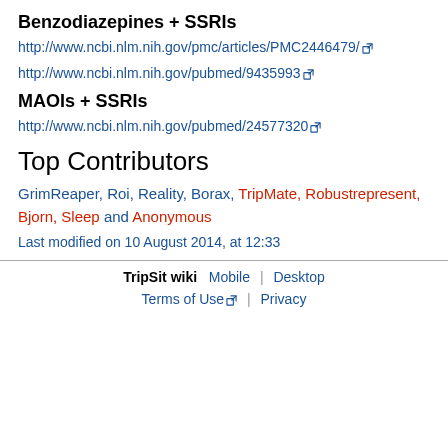Benzodiazepines + SSRIs
http://www.ncbi.nlm.nih.gov/pmc/articles/PMC2446479/
http://www.ncbi.nlm.nih.gov/pubmed/9435993
MAOIs + SSRIs
http://www.ncbi.nlm.nih.gov/pubmed/24577320
Top Contributors
GrimReaper, Roi, Reality, Borax, TripMate, Robustrepresent, Bjorn, Sleep and Anonymous
Last modified on 10 August 2014, at 12:33
TripSit wiki  Mobile | Desktop  Terms of Use | Privacy